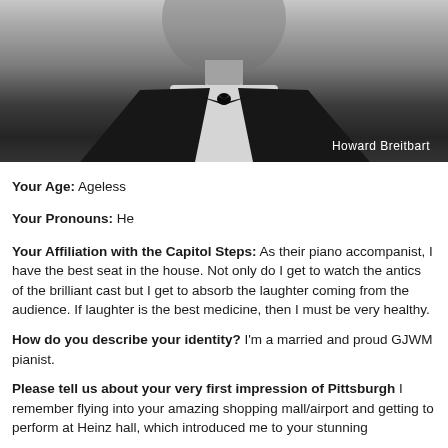[Figure (photo): Black and white headshot of Howard Breitbart wearing a tuxedo with bow tie. Name 'Howard Breitbart' appears in white text at bottom right.]
Your Age: Ageless
Your Pronouns: He
Your Affiliation with the Capitol Steps: As their piano accompanist, I have the best seat in the house. Not only do I get to watch the antics of the brilliant cast but I get to absorb the laughter coming from the audience. If laughter is the best medicine, then I must be very healthy.
How do you describe your identity? I'm a married and proud GJWM pianist.
Please tell us about your very first impression of Pittsburgh I remember flying into your amazing shopping mall/airport and getting to perform at Heinz hall, which introduced me to your stunning